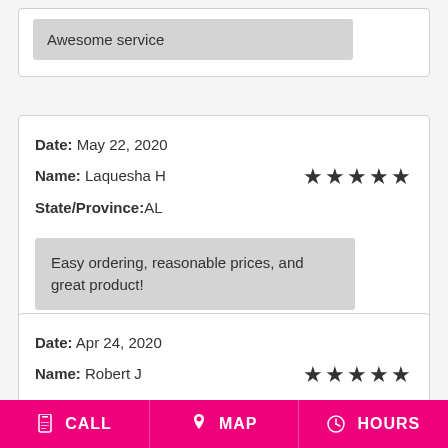Awesome service
Date: May 22, 2020
Name: Laquesha H
State/Province:AL
★★★★★
Easy ordering, reasonable prices, and great product!
Date: Apr 24, 2020
Name: Robert J
State/Province:NM
★★★★★
CALL  MAP  HOURS